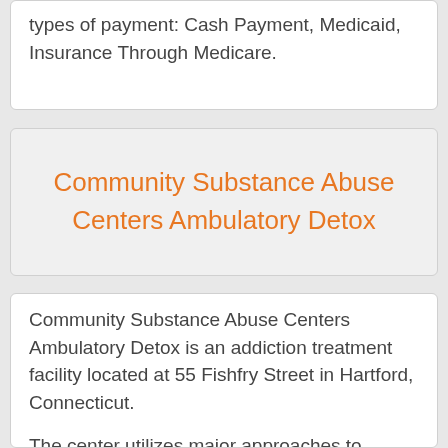types of payment: Cash Payment, Medicaid, Insurance Through Medicare.
Community Substance Abuse Centers Ambulatory Detox
Community Substance Abuse Centers Ambulatory Detox is an addiction treatment facility located at 55 Fishfry Street in Hartford, Connecticut.
The center utilizes major approaches to treatment of Cognitive/Behavioral Therapy, Services to Reduce the Risk of Relapse, 12 Step Therapy, Supports The center offers...